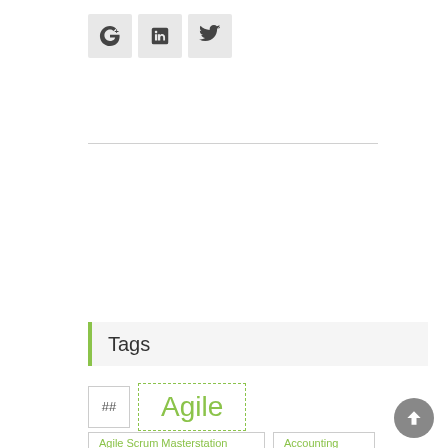[Figure (other): Social media share buttons: Google+, LinkedIn, Twitter icons in gray square buttons]
Tags
##
Agile
Agile Scrum Masterstation
Accounting